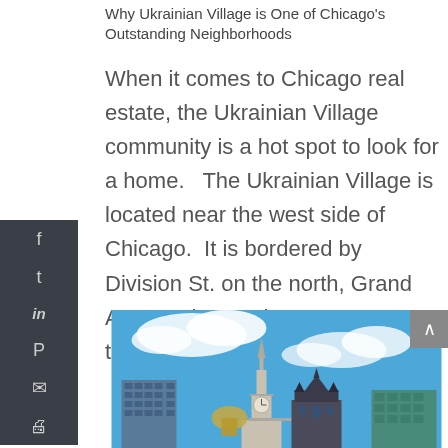Why Ukrainian Village is One of Chicago's Outstanding Neighborhoods
When it comes to Chicago real estate, the Ukrainian Village community is a hot spot to look for a home.   The Ukrainian Village is located near the west side of Chicago.  It is bordered by Division St. on the north, Grand Ave. on the south,Western Ave to the west and...
[Figure (photo): Cityscape photo showing Chicago buildings including a tall clock tower with ornate Gothic architecture against a blue sky with clouds]